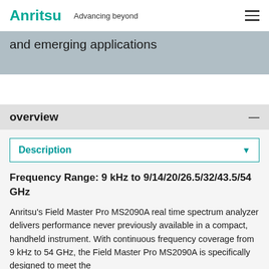Anritsu Advancing beyond
and emerging applications
overview
Description
Frequency Range: 9 kHz to 9/14/20/26.5/32/43.5/54 GHz
Anritsu's Field Master Pro MS2090A real time spectrum analyzer delivers performance never previously available in a compact, handheld instrument. With continuous frequency coverage from 9 kHz to 54 GHz, the Field Master Pro MS2090A is specifically designed to meet the